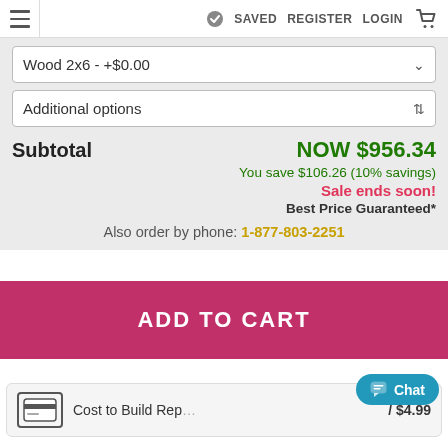SAVED  REGISTER  LOGIN
Wood 2x6 - +$0.00
Additional options
Subtotal   NOW $956.34
You save $106.26 (10% savings)
Sale ends soon!
Best Price Guaranteed*
Also order by phone: 1-877-803-2251
ADD TO CART
Cost to Build Rep... / $4.99